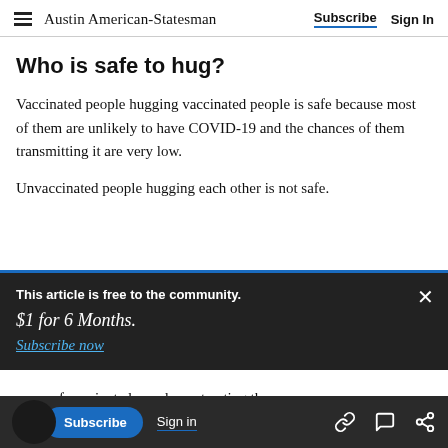Austin American-Statesman  Subscribe  Sign In
Who is safe to hug?
Vaccinated people hugging vaccinated people is safe because most of them are unlikely to have COVID-19 and the chances of them transmitting it are very low.
Unvaccinated people hugging each other is not safe.
This article is free to the community.
$1 for 6 Months.
Subscribe now
cases of vaccinated people contracting the
COVID-19, even if they don't have any symptoms.